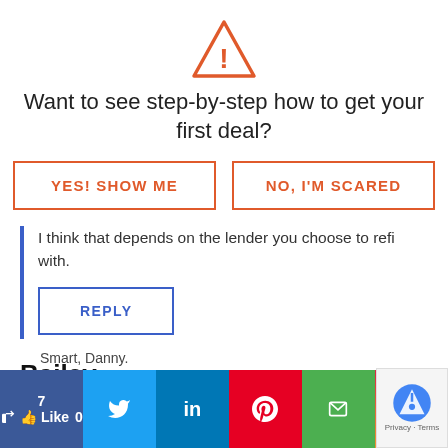[Figure (illustration): Orange warning/alert triangle icon with exclamation mark]
Want to see step-by-step how to get your first deal?
YES! SHOW ME
NO, I'M SCARED
I think that depends on the lender you choose to refi with.
REPLY
Bailey
Smart, Danny.